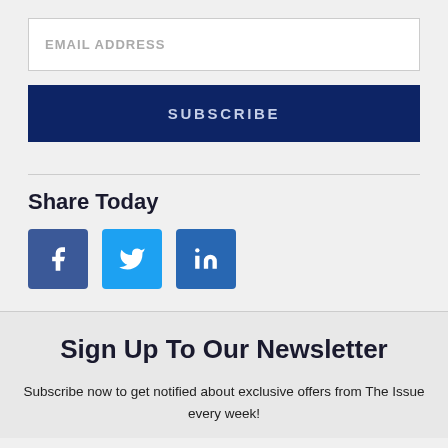EMAIL ADDRESS
SUBSCRIBE
Share Today
[Figure (other): Social media share buttons: Facebook, Twitter, LinkedIn]
Sign Up To Our Newsletter
Subscribe now to get notified about exclusive offers from The Issue every week!